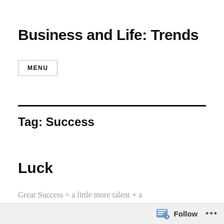Business and Life: Trends
MENU
Tag: Success
Luck
Great Success = a little more talent + a lot of luck…
Follow …